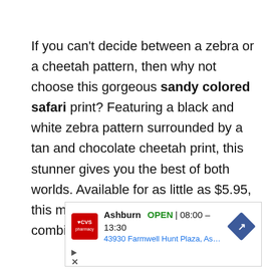If you can't decide between a zebra or a cheetah pattern, then why not choose this gorgeous sandy colored safari print? Featuring a black and white zebra pattern surrounded by a tan and chocolate cheetah print, this stunner gives you the best of both worlds. Available for as little as $5.95, this mixed animal print is the perfect combination of style and durability.
[Figure (screenshot): CVS Pharmacy advertisement showing Ashburn location: OPEN 08:00 - 13:30, 43930 Farmwell Hunt Plaza, As...]